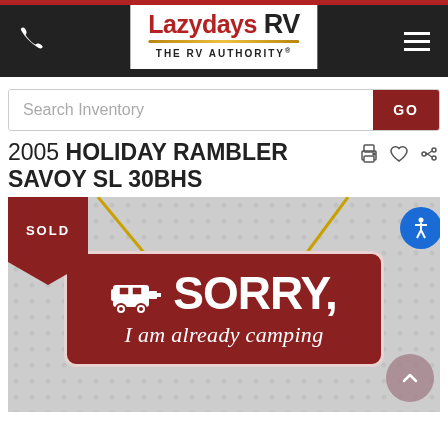[Figure (logo): Lazydays RV - The RV Authority logo in header navigation bar with phone icon and hamburger menu]
[Figure (screenshot): Search Inventory input field with GO button]
2005 HOLIDAY RAMBLER SAVOY SL 30BHS
[Figure (illustration): Sold vehicle image placeholder showing a sign hanging on yellow strings against grey dotted background. Sign reads: SORRY, I am already camping with an RV icon. A SOLD badge is in the top left corner.]